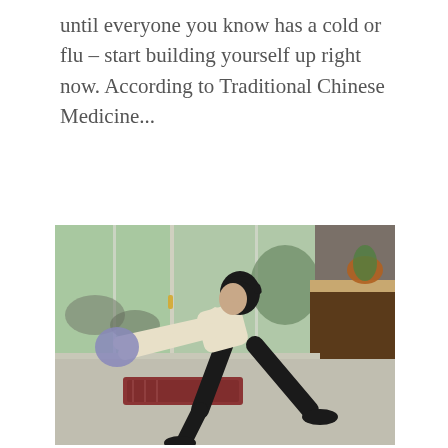until everyone you know has a cold or flu – start building yourself up right now. According to Traditional Chinese Medicine...
[Figure (photo): A woman in a white long-sleeve top and black pants in a lunge/stretch position with arms extended forward, in a home setting with large glass doors/windows in the background and a rug on the floor.]